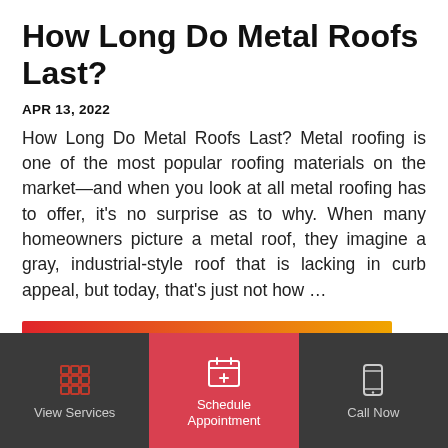How Long Do Metal Roofs Last?
APR 13, 2022
How Long Do Metal Roofs Last? Metal roofing is one of the most popular roofing materials on the market—and when you look at all metal roofing has to offer, it's no surprise as to why. When many homeowners picture a metal roof, they imagine a gray, industrial-style roof that is lacking in curb appeal, but today, that's just not how …
[Figure (other): READ MORE button with red-to-orange gradient background]
[Figure (infographic): Bottom navigation bar with three items: View Services (grid icon), Schedule Appointment (calendar icon, active/highlighted in red), Call Now (phone icon)]